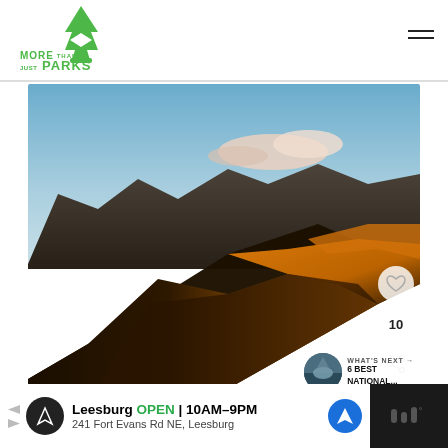[Figure (logo): More Than Just Parks logo — green arrowhead/tree icon with text 'MORE THAN JUST PARKS']
[Figure (photo): Aerial photo of Eureka sand dunes at sunset in Death Valley, showing orange/golden dunes with shadows, mountain range and clouds in background]
The stunning Eureka dunes at sunset | National Parks Near Las Vegas
[Figure (infographic): Advertisement bar for Leesburg store — OPEN 10AM–9PM, 241 Fort Evans Rd NE, Leesburg]